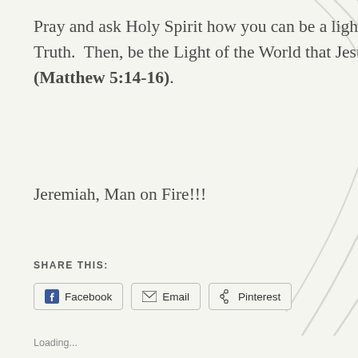Pray and ask Holy Spirit how you can be a light and speak the Truth. Then, be the Light of the World that Jesus calls you to be (Matthew 5:14-16).
Jeremiah, Man on Fire!!!
SHARE THIS:
Loading...
Adventures in Aussieland – Video Update #10
July 9, 2014
In "Australia"
Back to Texas: Newsletter #1
May 30, 2014
In "Australia"